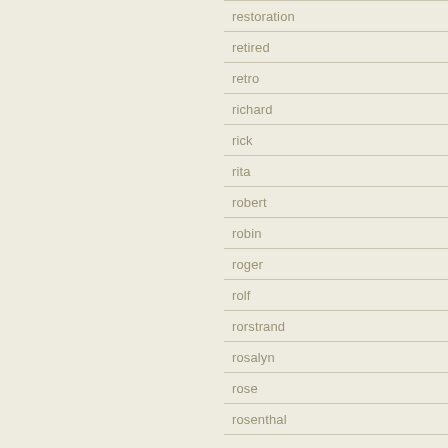restoration
retired
retro
richard
rick
rita
robert
robin
roger
rolf
rorstrand
rosalyn
rose
rosenthal
roses